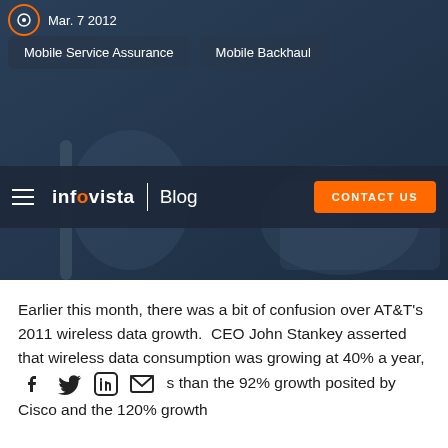Mar. 7 2012
Mobile Service Assurance
Mobile Backhaul
[Figure (screenshot): Infovista Blog navigation bar with hamburger menu, Infovista logo, Blog label, and orange Contact Us button, overlaid on a dark blue hero image showing a hand pointing at a chart]
Earlier this month, there was a bit of confusion over AT&T's 2011 wireless data growth.  CEO John Stankey asserted that wireless data consumption was growing at 40% a year, [social icons] s than the 92% growth posited by Cisco and the 120% growth